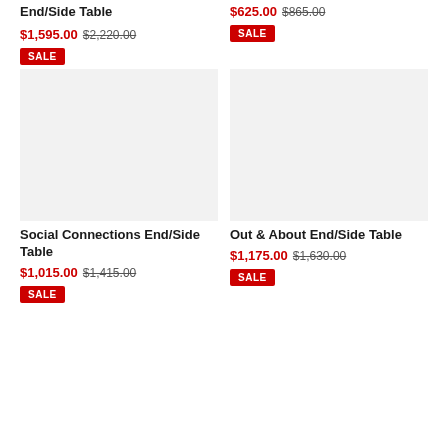End/Side Table
$1,595.00  $2,220.00
SALE
$625.00  $865.00
SALE
[Figure (photo): Product image placeholder for Social Connections End/Side Table]
[Figure (photo): Product image placeholder for Out & About End/Side Table]
Social Connections End/Side Table
$1,015.00  $1,415.00
SALE
Out & About End/Side Table
$1,175.00  $1,630.00
SALE